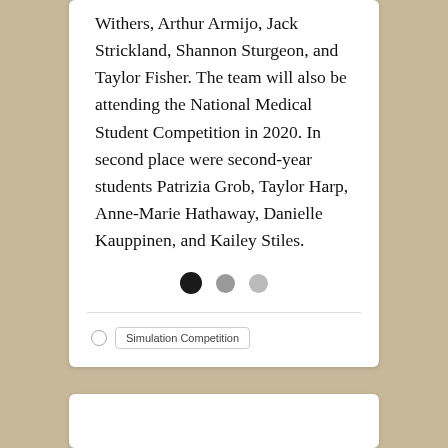Withers, Arthur Armijo, Jack Strickland, Shannon Sturgeon, and Taylor Fisher. The team will also be attending the National Medical Student Competition in 2020. In second place were second-year students Patrizia Grob, Taylor Harp, Anne-Marie Hathaway, Danielle Kauppinen, and Kailey Stiles.
[Figure (other): Three pagination dots: one dark (selected), two light gray]
Simulation Competition